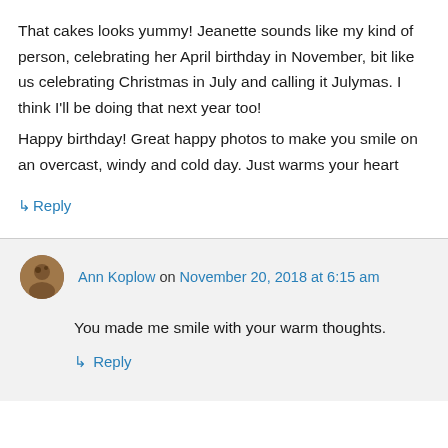That cakes looks yummy! Jeanette sounds like my kind of person, celebrating her April birthday in November, bit like us celebrating Christmas in July and calling it Julymas. I think I'll be doing that next year too!
Happy birthday! Great happy photos to make you smile on an overcast, windy and cold day. Just warms your heart
↳ Reply
Ann Koplow on November 20, 2018 at 6:15 am
You made me smile with your warm thoughts.
↳ Reply